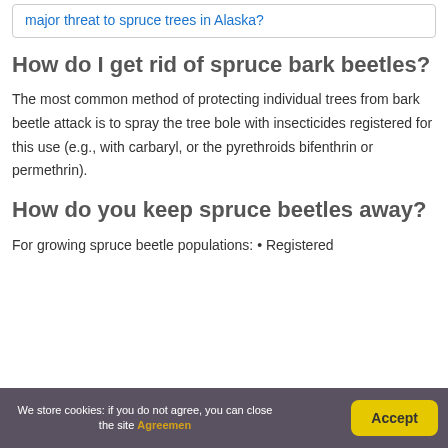major threat to spruce trees in Alaska?
How do I get rid of spruce bark beetles?
The most common method of protecting individual trees from bark beetle attack is to spray the tree bole with insecticides registered for this use (e.g., with carbaryl, or the pyrethroids bifenthrin or permethrin).
How do you keep spruce beetles away?
For growing spruce beetle populations: • Registered
We store cookies: if you do not agree, you can close the site Agreemen